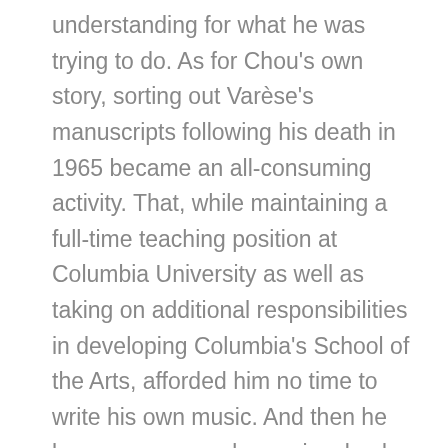understanding for what he was trying to do. As for Chou's own story, sorting out Varèse's manuscripts following his death in 1965 became an all-consuming activity. That, while maintaining a full-time teaching position at Columbia University as well as taking on additional responsibilities in developing Columbia's School of the Arts, afforded him no time to write his own music. And then he became more and more involved with establishing academic ties to China and made his first return trip there since the People's Republic had been established. He is quick to point out, however, that his students had nothing to do with his return to composition, either, since he did his best